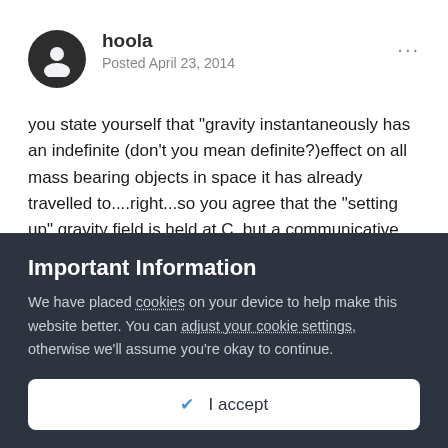hoola
Posted April 23, 2014
you state yourself that "gravity instantaneously has an indefinite (don't you mean definite?)effect on all mass bearing objects in space it has already travelled to....right...so you agree that the "setting up" gravity field is held at C, but a communicative relation between masses post setup happens superluminally...that is all is required to make my case . If the comm system wasn't ultra fast, orbits would be unstable, actually would never form....from what I have read on the subject of a light speed gravity effect. Whether the effect...
Important Information
We have placed cookies on your device to help make this website better. You can adjust your cookie settings, otherwise we'll assume you're okay to continue.
I accept